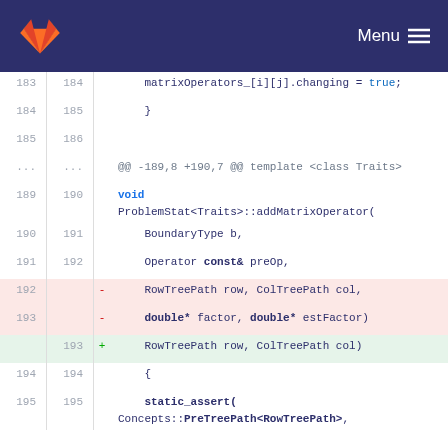[Figure (screenshot): GitLab navigation bar with logo and Menu button]
Code diff showing C++ file changes. Lines 183-195 with context lines and diff hunks for ProblemStat<Traits>::addMatrixOperator function signature changes.